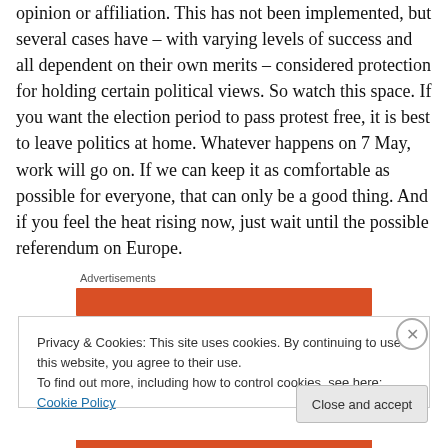opinion or affiliation. This has not been implemented, but several cases have – with varying levels of success and all dependent on their own merits – considered protection for holding certain political views. So watch this space. If you want the election period to pass protest free, it is best to leave politics at home. Whatever happens on 7 May, work will go on. If we can keep it as comfortable as possible for everyone, that can only be a good thing. And if you feel the heat rising now, just wait until the possible referendum on Europe.
Advertisements
[Figure (other): Orange advertisement bar]
Privacy & Cookies: This site uses cookies. By continuing to use this website, you agree to their use.
To find out more, including how to control cookies, see here: Cookie Policy
Close and accept